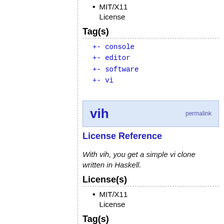MIT/X11 License
Tag(s)
+- console
+- editor
+- software
+- vi
vih
License Reference
With vih, you get a simple vi clone written in Haskell.
License(s)
MIT/X11 License
Tag(s)